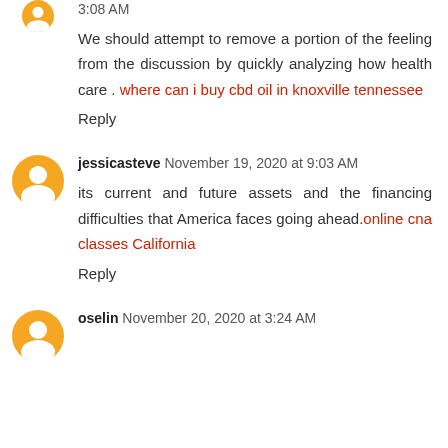3:08 AM
We should attempt to remove a portion of the feeling from the discussion by quickly analyzing how health care . where can i buy cbd oil in knoxville tennessee
Reply
jessicasteve November 19, 2020 at 9:03 AM
its current and future assets and the financing difficulties that America faces going ahead.online cna classes California
Reply
oselin November 20, 2020 at 3:24 AM